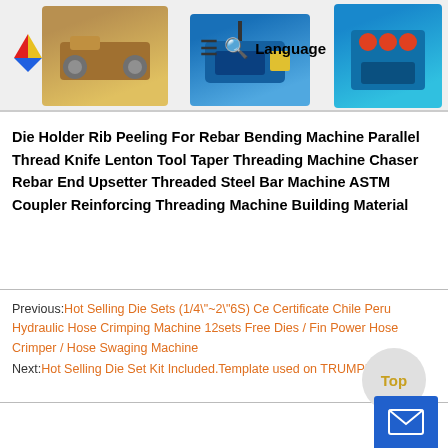[Figure (screenshot): Website header bar with logo (colorful triangles), product images (metal machines in yellow, blue), hamburger menu, search icon, and Language text]
Die Holder Rib Peeling For Rebar Bending Machine Parallel Thread Knife Lenton Tool Taper Threading Machine Chaser Rebar End Upsetter Threaded Steel Bar Machine ASTM Coupler Reinforcing Threading Machine Building Material
Previous: Hot Selling Die Sets (1/4\"~2\"6S) Ce Certificate Chile Peru Hydraulic Hose Crimping Machine 12sets Free Dies / Fin Power Hose Crimper / Hose Swaging Machine
Next: Hot Selling Die Set Kit Included.Template used on TRUMPF 5000r